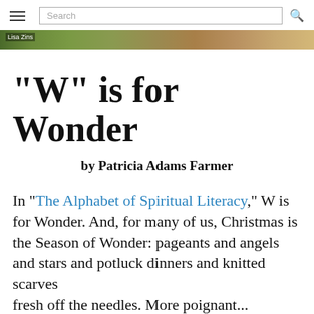Search
[Figure (photo): Banner photo of outdoor nature scene — green foliage and earthy tones, with a small label 'Lisa Zins' in the upper-left corner.]
"W" is for Wonder
by Patricia Adams Farmer
In "The Alphabet of Spiritual Literacy," W is for Wonder. And, for many of us, Christmas is the Season of Wonder: pageants and angels and stars and potluck dinners and knitted scarves fresh off the needles. More poignant...